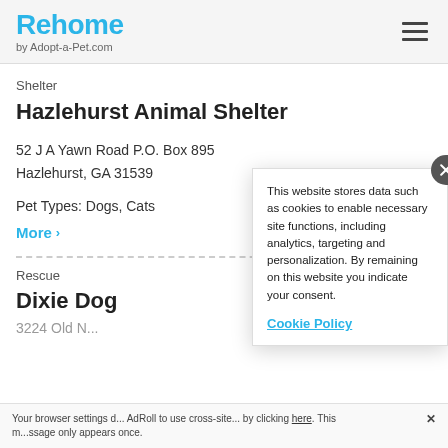Rehome by Adopt-a-Pet.com
Shelter
Hazlehurst Animal Shelter
52 J A Yawn Road P.O. Box 895
Hazlehurst, GA 31539
Pet Types: Dogs, Cats
More >
Rescue
Dixie Dog...
3224 Old N...
This website stores data such as cookies to enable necessary site functions, including analytics, targeting and personalization. By remaining on this website you indicate your consent.
Cookie Policy
Your browser settings d... AdRoll to use cross-site... by clicking here. This m...ssage only appears once.